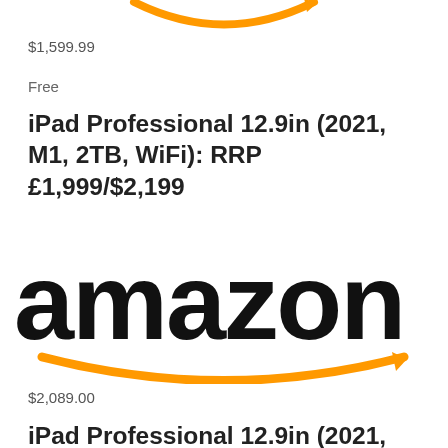[Figure (logo): Amazon logo partial (smile/arrow only) at top of page]
$1,599.99
Free
iPad Professional 12.9in (2021, M1, 2TB, WiFi): RRP £1,999/$2,199
[Figure (logo): Amazon logo with text 'amazon' in black and orange smile arrow]
$2,089.00
iPad Professional 12.9in (2021,